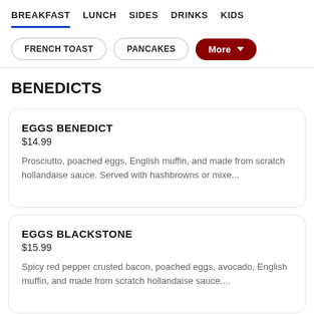BREAKFAST  LUNCH  SIDES  DRINKS  KIDS
FRENCH TOAST
PANCAKES
More
BENEDICTS
EGGS BENEDICT
$14.99
Prosciutto, poached eggs, English muffin, and made from scratch hollandaise sauce. Served with hashbrowns or mixe...
EGGS BLACKSTONE
$15.99
Spicy red pepper crusted bacon, poached eggs, avocado, English muffin, and made from scratch hollandaise sauce....